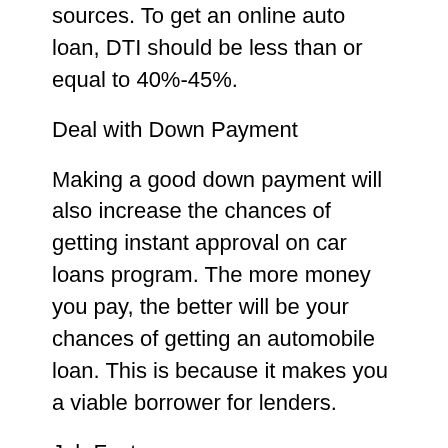sources. To get an online auto loan, DTI should be less than or equal to 40%-45%.
Deal with Down Payment
Making a good down payment will also increase the chances of getting instant approval on car loans program. The more money you pay, the better will be your chances of getting an automobile loan. This is because it makes you a viable borrower for lenders.
Job Factor
Employment stability is a key factor and lenders would want to see you working for at least a couple of months. Also, few lenders may even ask